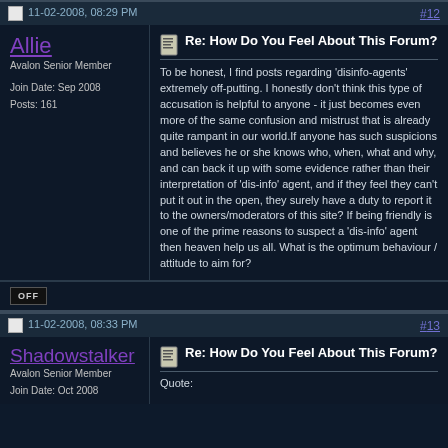11-02-2008, 08:29 PM  #12
Allie
Avalon Senior Member
Join Date: Sep 2008
Posts: 161
Re: How Do You Feel About This Forum?
To be honest, I find posts regarding 'disinfo-agents' extremely off-putting. I honestly don't think this type of accusation is helpful to anyone - it just becomes even more of the same confusion and mistrust that is already quite rampant in our world.If anyone has such suspicions and believes he or she knows who, when, what and why, and can back it up with some evidence rather than their interpretation of 'dis-info' agent, and if they feel they can't put it out in the open, they surely have a duty to report it to the owners/moderators of this site? If being friendly is one of the prime reasons to suspect a 'dis-info' agent then heaven help us all. What is the optimum behaviour / attitude to aim for?
11-02-2008, 08:33 PM  #13
Shadowstalker
Avalon Senior Member
Join Date: Oct 2008
Re: How Do You Feel About This Forum?
Quote: